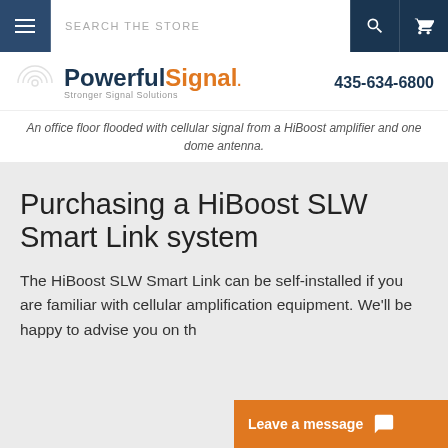SEARCH THE STORE
[Figure (logo): PowerfulSignal logo with tagline 'Stronger Signal Solutions' and phone number 435-634-6800]
An office floor flooded with cellular signal from a HiBoost amplifier and one dome antenna.
Purchasing a HiBoost SLW Smart Link system
The HiBoost SLW Smart Link can be self-installed if you are familiar with cellular amplification equipment. We'll be happy to advise you on th…
Leave a message